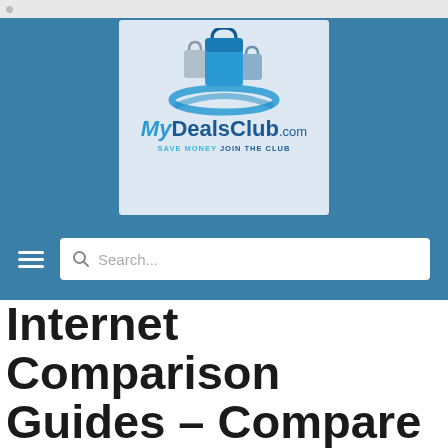[Figure (logo): MyDealsClub.com logo with shopping bag icons orbiting a blue ring, tagline: SAVE MONEY JOIN THE CLUB]
[Figure (screenshot): Website navigation bar with hamburger menu icon and search bar with placeholder text 'Search...']
Internet Comparison Guides – Compare Different Internet Service Providers